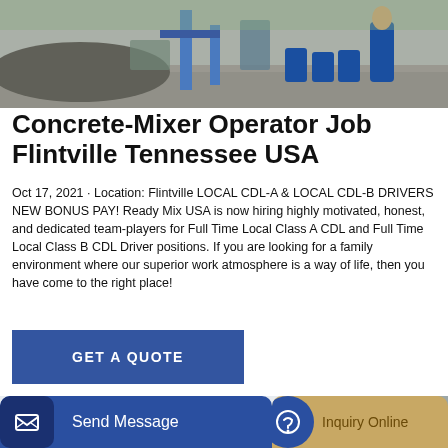[Figure (photo): Outdoor photo of a concrete mixing facility with blue industrial equipment, blue barrels, and a worker in a blue jacket standing in the background on a gravel lot.]
Concrete-Mixer Operator Job Flintville Tennessee USA
Oct 17, 2021 · Location: Flintville LOCAL CDL-A & LOCAL CDL-B DRIVERS NEW BONUS PAY! Ready Mix USA is now hiring highly motivated, honest, and dedicated team-players for Full Time Local Class A CDL and Full Time Local Class B CDL Driver positions. If you are looking for a family environment where our superior work atmosphere is a way of life, then you have come to the right place!
[Figure (other): Blue rectangular button labeled GET A QUOTE]
[Figure (photo): Photo of an orange concrete pump truck labeled CONCRETE PUMP parked in front of a building, with a partial serial or model number visible ending in S-16.]
Send Message
Inquiry Online